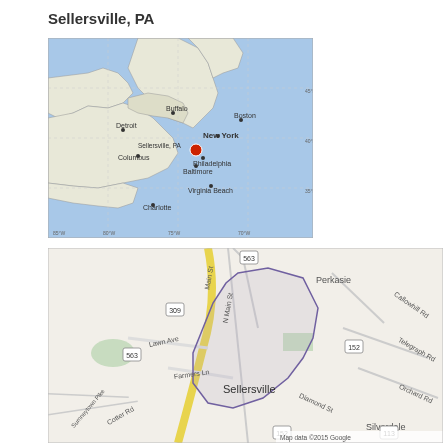Sellersville, PA
[Figure (map): Regional map of northeastern United States showing location of Sellersville, PA marked with a red dot, with cities like New York, Philadelphia, Boston, Detroit, Buffalo, Columbus, Baltimore, Virginia Beach, Charlotte labeled. Blue ocean to the east. Grid lines with latitude/longitude markers.]
[Figure (map): Street-level map of Sellersville, PA showing local roads including Main St, N Main St, Lawn Ave, Farmers Ln, nearby areas Perkasie, Silverdale, road numbers 563, 309, 152, 113, Callowhill Rd, Telegraph Rd, Orchard Rd, Diamond St. Borough boundary outlined in purple. Map data 2015 Google.]